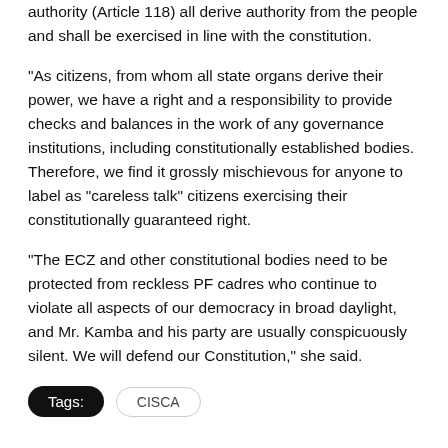authority (Article 118) all derive authority from the people and shall be exercised in line with the constitution.
"As citizens, from whom all state organs derive their power, we have a right and a responsibility to provide checks and balances in the work of any governance institutions, including constitutionally established bodies. Therefore, we find it grossly mischievous for anyone to label as “careless talk” citizens exercising their constitutionally guaranteed right.
“The ECZ and other constitutional bodies need to be protected from reckless PF cadres who continue to violate all aspects of our democracy in broad daylight, and Mr. Kamba and his party are usually conspicuously silent. We will defend our Constitution,” she said.
Tags: CISCA